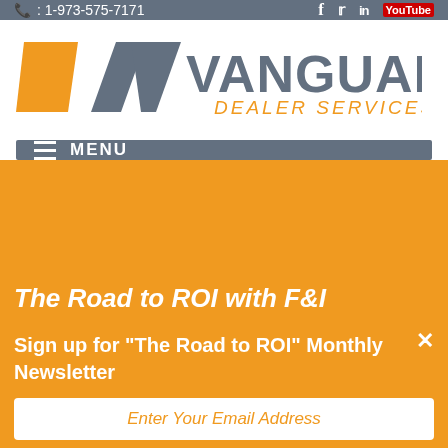: 1-973-575-7171
[Figure (logo): Vanguard Dealer Services logo with orange chevron/V shape and gray VANGUARD text with orange DEALER SERVICES subtext]
MENU
The Road to ROI with F&I
Sign up for "The Road to ROI" Monthly Newsletter
Enter Your Email Address